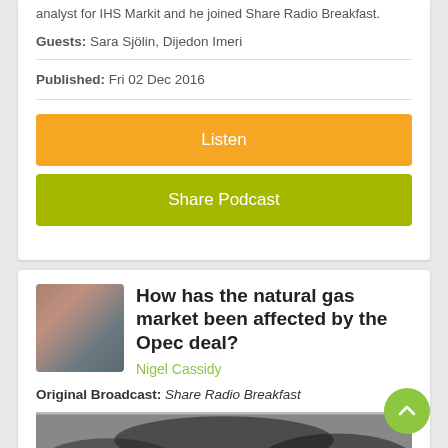analyst for IHS Markit and he joined Share Radio Breakfast.
Guests: Sara Sjölin, Dijedon Imeri
Published: Fri 02 Dec 2016
Listen
Share Podcast
How has the natural gas market been affected by the Opec deal?
Nigel Cassidy
Original Broadcast: Share Radio Breakfast
[Figure (photo): Thumbnail image at bottom of page, dark blurred photo]